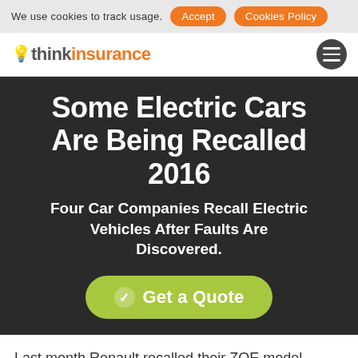We use cookies to track usage. Accept  Cookies Policy
[Figure (logo): Think Insurance logo with lightbulb icon and hamburger menu button]
Some Electric Cars Are Being Recalled 2016
Four Car Companies Recall Electric Vehicles After Faults Are Discovered.
Get a Quote
Last month Renault recalled their ZOE model worldwide, while the Tesla Model X, Volkswagen e-